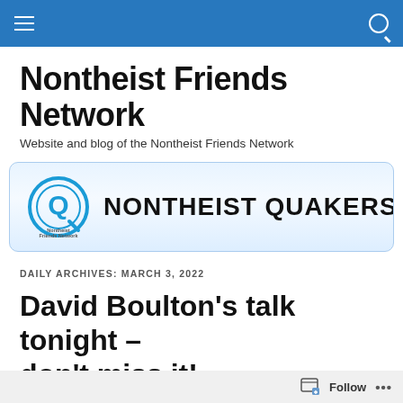Navigation bar with hamburger menu and search icon
Nontheist Friends Network
Website and blog of the Nontheist Friends Network
[Figure (logo): Nontheist Quakers banner with circular Q logo and text NONTHEIST QUAKERS]
DAILY ARCHIVES: MARCH 3, 2022
David Boulton's talk tonight – don't miss it!
Follow ...